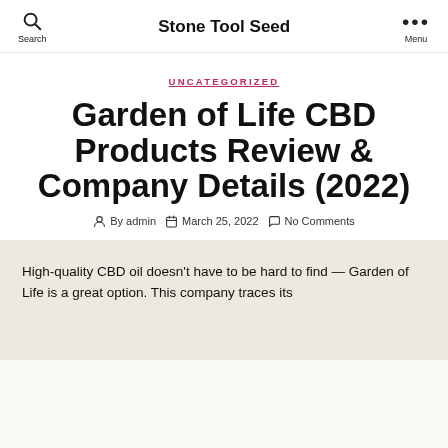Stone Tool Seed
UNCATEGORIZED
Garden of Life CBD Products Review & Company Details (2022)
By admin   March 25, 2022   No Comments
High-quality CBD oil doesn't have to be hard to find — Garden of Life is a great option. This company traces its